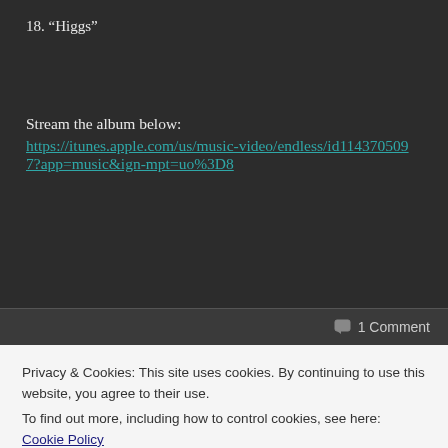18. “Higgs”
Stream the album below:
https://itunes.apple.com/us/music-video/endless/id1143705097?app=music&ign-mpt=uo%3D8
1 Comment
Privacy & Cookies: This site uses cookies. By continuing to use this website, you agree to their use.
To find out more, including how to control cookies, see here: Cookie Policy
Close and accept